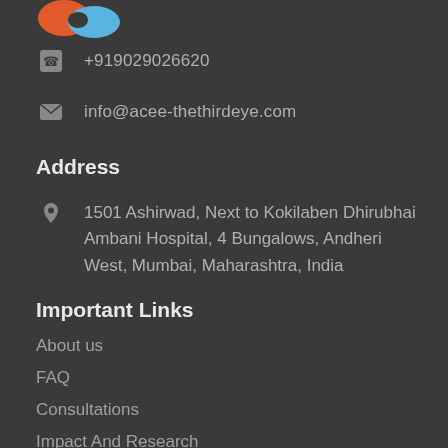[Figure (logo): Partial logo with orange and blue shapes visible at top left]
+919029026620
info@acee-thethirdeye.com
Address
1501 Ashirwad, Next to Kokilaben Dhirubhai Ambani Hospital, 4 Bungalows, Andheri West, Mumbai, Maharashtra, India
Important Links
About us
FAQ
Consultations
Impact And Research